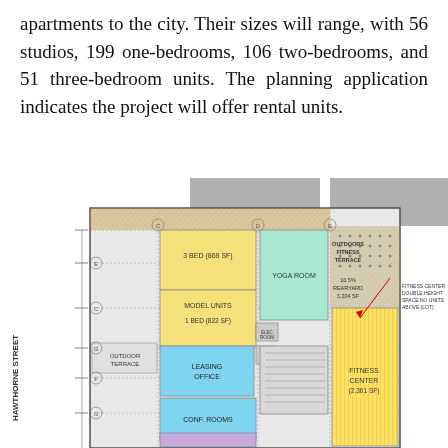apartments to the city. Their sizes will range, with 56 studios, 199 one-bedrooms, 106 two-bedrooms, and 51 three-bedroom units. The planning application indicates the project will offer rental units.
[Figure (engineering-diagram): Architectural floor plan showing building layout with labeled rooms including: 3 BED (868 SF), MODEL UNITS, 1 BED (822 SF), YOGA ROOM, LEASING OFFICE, CONF. ROOMS, OUTDOOR TERRACE, OUTDOORS FITNESS TERRACE, REARYARD 3,204 SF (16.5%), FITNESS CENTER (2,361 SF) - DOUBLE HEIGHT SPACE NO UNITS ABOVE (LOT). Street label HAWTHORNE STREET on left side. Various room configurations shown in color-coded blocks (yellow, green, blue, purple, gray). Grid lines with dimension markers.]